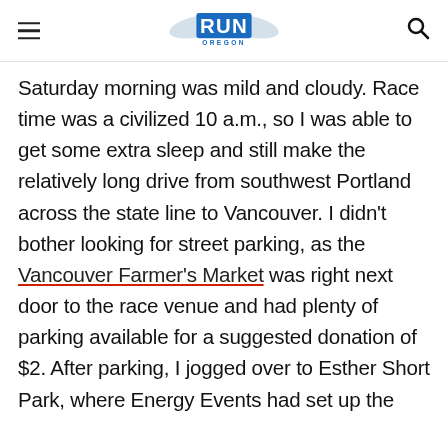RUN OREGON
Saturday morning was mild and cloudy. Race time was a civilized 10 a.m., so I was able to get some extra sleep and still make the relatively long drive from southwest Portland across the state line to Vancouver. I didn't bother looking for street parking, as the Vancouver Farmer's Market was right next door to the race venue and had plenty of parking available for a suggested donation of $2. After parking, I jogged over to Esther Short Park, where Energy Events had set up the